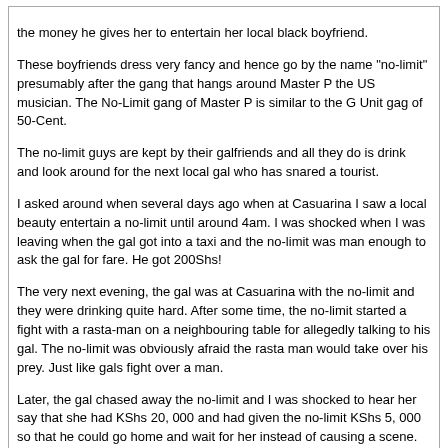the money he gives her to entertain her local black boyfriend.

These boyfriends dress very fancy and hence go by the name "no-limit" presumably after the gang that hangs around Master P the US musician. The No-Limit gang of Master P is similar to the G Unit gag of 50-Cent.

The no-limit guys are kept by their galfriends and all they do is drink and look around for the next local gal who has snared a tourist.

I asked around when several days ago when at Casuarina I saw a local beauty entertain a no-limit until around 4am. I was shocked when I was leaving when the gal got into a taxi and the no-limit was man enough to ask the gal for fare. He got 200Shs!

The very next evening, the gal was at Casuarina with the no-limit and they were drinking quite hard. After some time, the no-limit started a fight with a rasta-man on a neighbouring table for allegedly talking to his gal. The no-limit was obviously afraid the rasta man would take over his prey. Just like gals fight over a man.

Later, the gal chased away the no-limit and I was shocked to hear her say that she had KShs 20, 000 and had given the no-limit KShs 5, 000 so that he could go home and wait for her instead of causing a scene.

Why do these beauties like the no-limits? Apparently, they are so good in the sack that their game has no-limits!Thanx for the good news Mukio.
Musomba2006	02-05-08, 10:16

They say every dark cloud has a silver lining.

Following the departure of tourists from Kenya, the supply of gals is now exceeding the demand from mongerers.

In fact the running joke is that by the end of January, all a man needs to get a gal is to buy her some food.